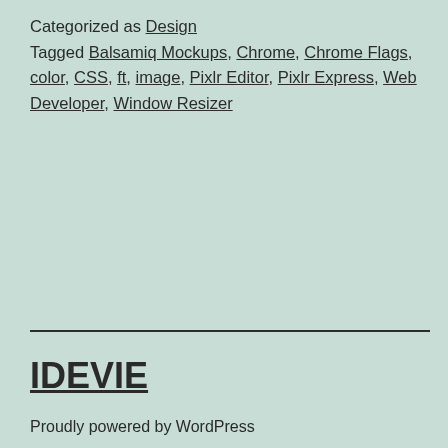Categorized as Design
Tagged Balsamiq Mockups, Chrome, Chrome Flags, color, CSS, ft, image, Pixlr Editor, Pixlr Express, Web Developer, Window Resizer
IDEVIE
Proudly powered by WordPress